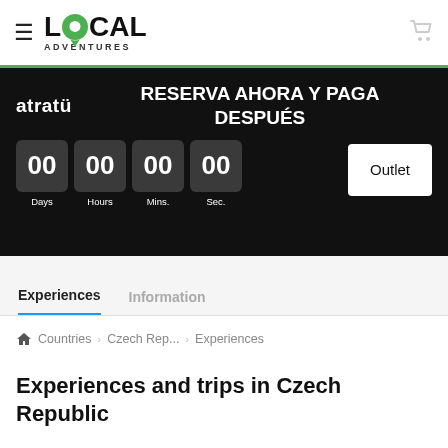[Figure (logo): LOCAL ADVENTURES logo with green circular pin icon and hamburger menu icon on left; shopping cart icon on right]
[Figure (infographic): Black banner with 'atratu' logo on left and bold white text 'RESERVA AHORA Y PAGA DESPUÉS', countdown timer showing 00 Days, 00 Hours, 00 Mins., 00 Sec., and white 'Outlet' button on right]
Experiences   Information
🏠 Countries  Czech Rep...  Experiences
Experiences and trips in Czech Republic